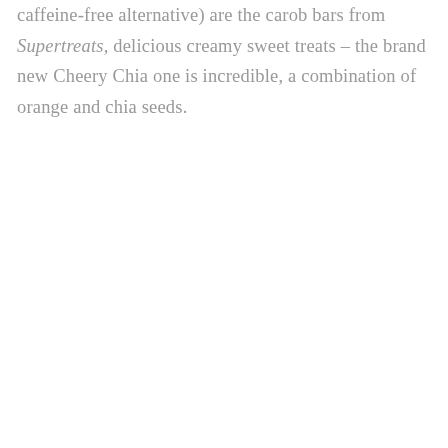caffeine-free alternative) are the carob bars from Supertreats, delicious creamy sweet treats – the brand new Cheery Chia one is incredible, a combination of orange and chia seeds.